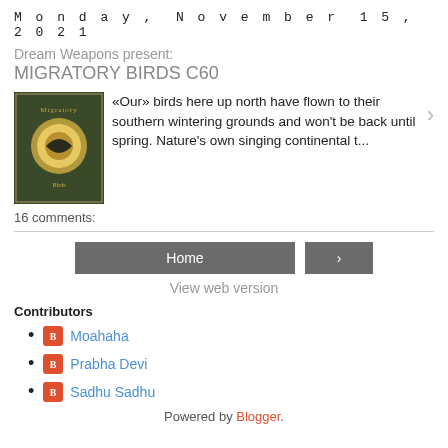Monday, November 15, 2021
Dream Weapons present:
MIGRATORY BIRDS C60
«Our» birds here up north have flown to their southern wintering grounds and won't be back until spring. Nature's own singing continental t...
16 comments:
Home
View web version
Contributors
Moahaha
Prabha Devi
Sadhu Sadhu
Powered by Blogger.